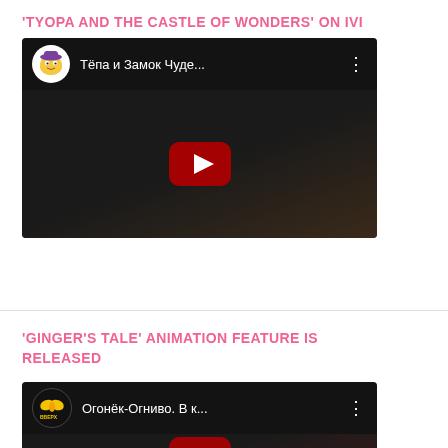'TYOPA AND THE CASTLE OF WONDERS' ON IVI
[Figure (screenshot): YouTube video thumbnail for 'Тёпа и Замок Чуде...' with channel avatar (cartoon character), video title, three-dot menu, and play button on dark animated background.]
'GINGER'S TALE' ANIMATION FEATURE IS RELEASED
[Figure (screenshot): YouTube video thumbnail for 'Огонёк-Огниво. В к...' with channel avatar (yellow butterfly/bird logo with 'ВВЕРХ' text), video title, three-dot menu, and partial play button on dark background.]